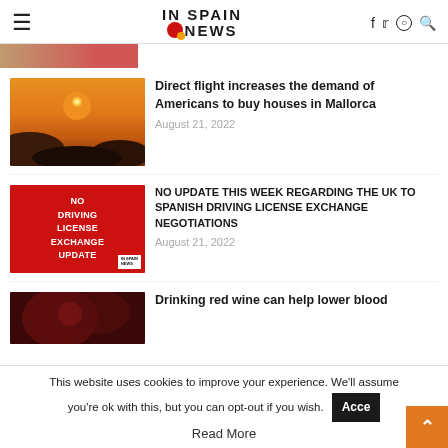IN SPAIN NEWS
[Figure (photo): Partial cropped image strip at top, reddish-brown tones]
[Figure (photo): Sunset over hills/mountains, golden-orange sky with bright sun]
Direct flight increases the demand of Americans to buy houses in Mallorca
August 21, 2022
[Figure (photo): Red background image with white text: NO DRIVING LICENSE EXCHANGE UPDATE, In Spain News badge]
NO UPDATE THIS WEEK REGARDING THE UK TO SPANISH DRIVING LICENSE EXCHANGE NEGOTIATIONS
August 21, 2022
[Figure (photo): Dark red wine image, partially visible]
Drinking red wine can help lower blood
This website uses cookies to improve your experience. We'll assume you're ok with this, but you can opt-out if you wish.
Read More